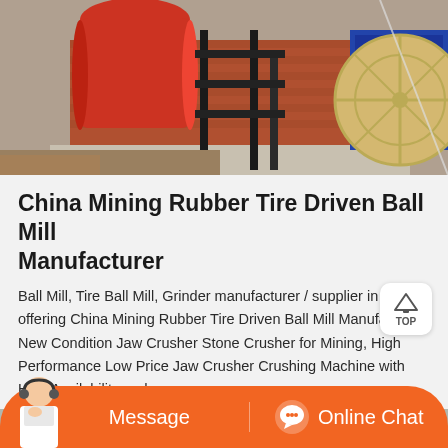[Figure (photo): Photo of industrial mining equipment including a red cylindrical ball mill, a black metal frame structure, and a large yellow/tan wheel-shaped component, with brick wall and blue machinery in background, outdoors.]
China Mining Rubber Tire Driven Ball Mill Manufacturer
Ball Mill, Tire Ball Mill, Grinder manufacturer / supplier in China offering China Mining Rubber Tire Driven Ball Mill Manufacturer, New Condition Jaw Crusher Stone Crusher for Mining, High Performance Low Price Jaw Crusher Crushing Machine with High Availability and so on.
[Figure (photo): Partial view of industrial factory interior with metal equipment, green structures, and bright overhead lighting.]